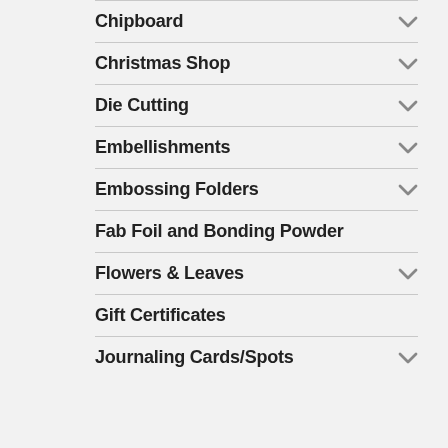Chipboard
Christmas Shop
Die Cutting
Embellishments
Embossing Folders
Fab Foil and Bonding Powder
Flowers & Leaves
Gift Certificates
Journaling Cards/Spots